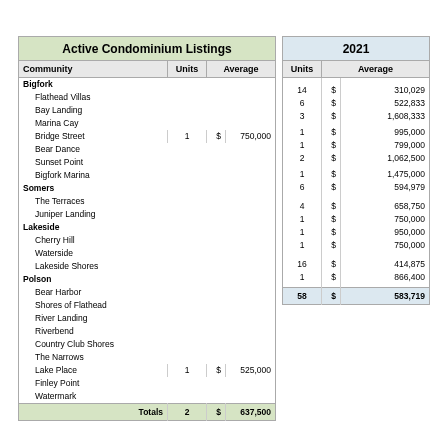| Community | Units | Average |
| --- | --- | --- |
| Bigfork |  |  |
| Flathead Villas |  |  |
| Bay Landing |  |  |
| Marina Cay |  |  |
| Bridge Street | 1 | $ 750,000 |
| Bear Dance |  |  |
| Sunset Point |  |  |
| Bigfork Marina |  |  |
| Somers |  |  |
| The Terraces |  |  |
| Juniper Landing |  |  |
| Lakeside |  |  |
| Cherry Hill |  |  |
| Waterside |  |  |
| Lakeside Shores |  |  |
| Polson |  |  |
| Bear Harbor |  |  |
| Shores of Flathead |  |  |
| River Landing |  |  |
| Riverbend |  |  |
| Country Club Shores |  |  |
| The Narrows |  |  |
| Lake Place | 1 | $ 525,000 |
| Finley Point |  |  |
| Watermark |  |  |
| Totals | 2 | $ 637,500 |
| Units | Average |
| --- | --- |
|  |  |
|  |  |
| 14 | $ 310,029 |
| 6 | $ 522,833 |
| 3 | $ 1,608,333 |
|  |  |
| 1 | $ 995,000 |
| 1 | $ 799,000 |
| 2 | $ 1,062,500 |
|  |  |
| 1 | $ 1,475,000 |
| 6 | $ 594,979 |
|  |  |
|  |  |
| 4 | $ 658,750 |
| 1 | $ 750,000 |
| 1 | $ 950,000 |
| 1 | $ 750,000 |
|  |  |
|  |  |
| 16 | $ 414,875 |
| 1 | $ 866,400 |
|  |  |
| 58 | $ 583,719 |